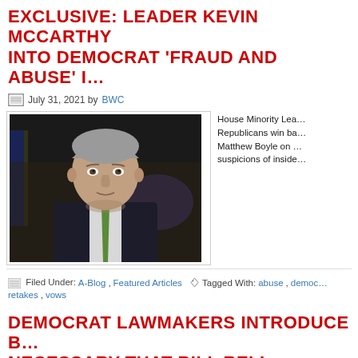EXCLUSIVE: LEADER KEVIN MCCARTHY INTO DEMOCRAT 'FRAUD AND ABUSE' I…
July 31, 2021 by BWC
[Figure (photo): Photo of Kevin McCarthy, a middle-aged man with gray hair wearing a dark suit and green tie, against a dark background]
House Minority Lea… Republicans win ba… Matthew Boyle on … suspicions of inside…
Filed Under: A-Blog, Featured Articles   Tagged With: abuse, democ… retakes, vows
DEMOCRAT LAWMAKERS INTRODUCE B… NECESSARY THAT BILL RELI…